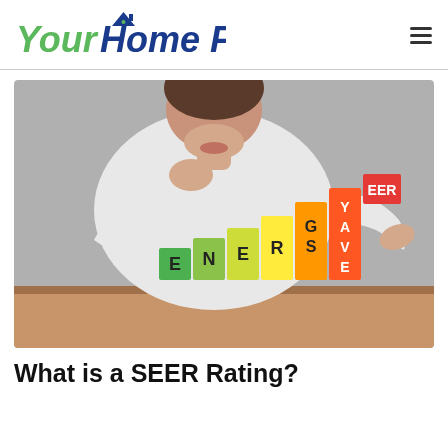Your Home Fix
[Figure (photo): A woman in a white top placing a red block labeled 'EER' on top of a staircase arrangement of colorful blocks spelling out 'ENERGY SAVE', sitting on a wooden table against a gray background.]
What is a SEER Rating?